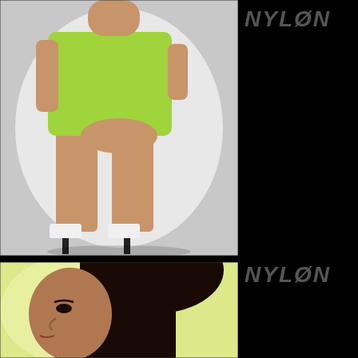[Figure (photo): Woman in green mini dress viewed from behind, wearing white high heels, against white background. Watermark visible on right edge.]
44,842 views
NYLONS.COM
NYLON
[Figure (photo): Profile portrait of a young woman with long dark hair against a pale green/yellow background. Watermark on right edge.]
NYLON